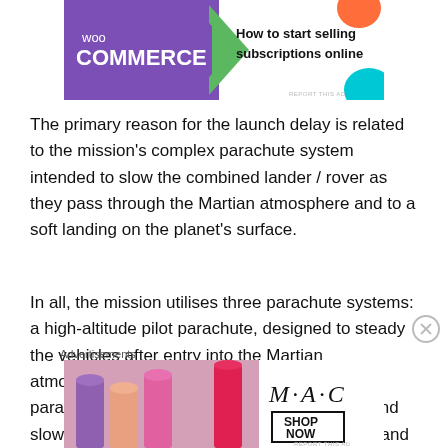[Figure (screenshot): WooCommerce advertisement banner: purple background with WooCommerce logo on left, teal arrow shape, orange and teal circular decorations, text 'How to start selling subscriptions online' on white background on right. 'REPORT THIS AD' text at bottom right.]
The primary reason for the launch delay is related to the mission's complex parachute system intended to slow the combined lander / rover as they pass through the Martian atmosphere and to a soft landing on the planet's surface.
In all, the mission utilises three parachute systems: a high-altitude pilot parachute, designed to steady the vehicles after entry into the Martian atmosphere; an initial “first stage” supersonic parachute, designed to act as a speed brake and slow the lander and rover to subsonic speeds; and finally a much larger “second
Advertisements
[Figure (screenshot): M·A·C cosmetics advertisement banner showing lipsticks in purple, pink, peach and red colors on left side, M·A·C logo in italic serif font in center, and 'SHOP NOW' button in bordered box on right. 'REPORT THIS AD' text at bottom right.]